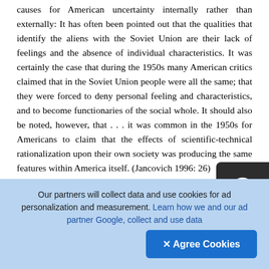causes for American uncertainty internally rather than externally: It has often been pointed out that the qualities that identify the aliens with the Soviet Union are their lack of feelings and the absence of individual characteristics. It was certainly the case that during the 1950s many American critics claimed that in the Soviet Union people were all the same; that they were forced to deny personal feeling and characteristics, and to become functionaries of the social whole. It should also be noted, however, that . . . it was common in the 1950s for Americans to claim that the effects of scientific-technical rationalization upon their own society was producing the same features within America itself. (Jancovich 1996: 26)
Paul Wells (1993: 181) substantiates this claim with
Our partners will collect data and use cookies for ad personalization and measurement. Learn how we and our ad partner Google, collect and use data